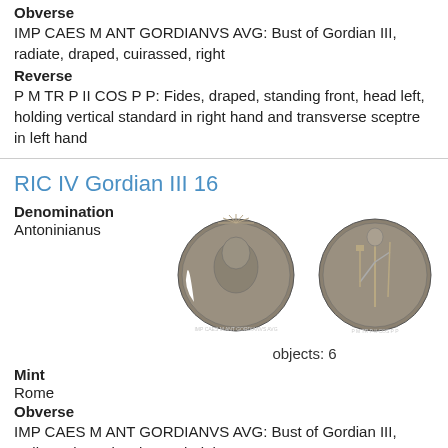Obverse
IMP CAES M ANT GORDIANVS AVG: Bust of Gordian III, radiate, draped, cuirassed, right
Reverse
P M TR P II COS P P: Fides, draped, standing front, head left, holding vertical standard in right hand and transverse sceptre in left hand
RIC IV Gordian III 16
Denomination
Antoninianus
[Figure (photo): Two Roman coins: obverse showing bust of Gordian III radiate draped cuirassed right, and reverse showing Fides standing. Caption: objects: 6]
objects: 6
Mint
Rome
Obverse
IMP CAES M ANT GORDIANVS AVG: Bust of Gordian III, radiate, draped, cuirassed, right
Reverse